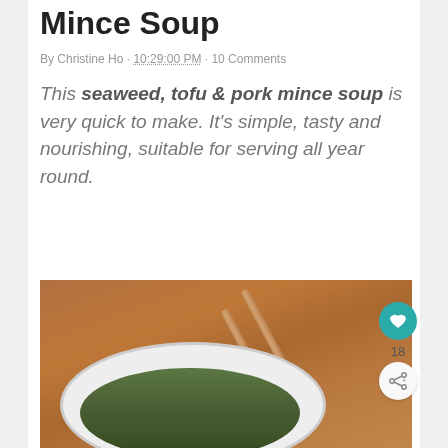Mince Soup
By Christine Ho · 10:29:00 PM · 10 Comments
This seaweed, tofu & pork mince soup is very quick to make. It's simple, tasty and nourishing, suitable for serving all year round.
[Figure (photo): A white bowl of seaweed, tofu and pork mince soup with chopsticks resting on a wooden surface beside it. A heart/like button showing 18 likes and a share button are visible on the right side.]